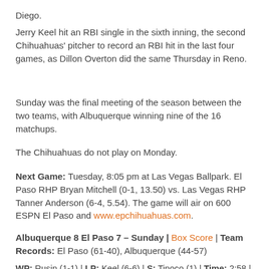Diego.
Jerry Keel hit an RBI single in the sixth inning, the second Chihuahuas' pitcher to record an RBI hit in the last four games, as Dillon Overton did the same Thursday in Reno.
Sunday was the final meeting of the season between the two teams, with Albuquerque winning nine of the 16 matchups.
The Chihuahuas do not play on Monday.
Next Game: Tuesday, 8:05 pm at Las Vegas Ballpark. El Paso RHP Bryan Mitchell (0-1, 13.50) vs. Las Vegas RHP Tanner Anderson (6-4, 5.54). The game will air on 600 ESPN El Paso and www.epchihuahuas.com.
Albuquerque 8 El Paso 7 – Sunday | Box Score | Team Records: El Paso (61-40), Albuquerque (44-57)
WP: Rusin (1-1) | LP: Keel (6-6) | S: Tinoco (1) | Time: 2:58 | Attn: